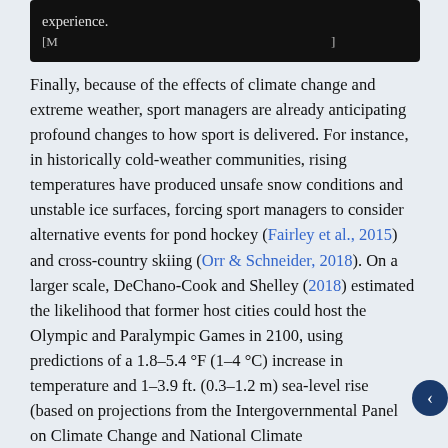experience. [M... ... (...)]
Finally, because of the effects of climate change and extreme weather, sport managers are already anticipating profound changes to how sport is delivered. For instance, in historically cold-weather communities, rising temperatures have produced unsafe snow conditions and unstable ice surfaces, forcing sport managers to consider alternative events for pond hockey (Fairley et al., 2015) and cross-country skiing (Orr & Schneider, 2018). On a larger scale, DeChano-Cook and Shelley (2018) estimated the likelihood that former host cities could host the Olympic and Paralympic Games in 2100, using predictions of a 1.8–5.4 °F (1–4 °C) increase in temperature and 1–3.9 ft. (0.3–1.2 m) sea-level rise (based on projections from the Intergovernmental Panel on Climate Change and National Climate